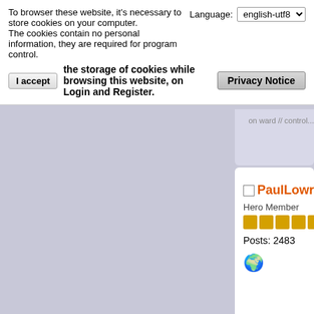To browser these website, it's necessary to store cookies on your computer.
The cookies contain no personal information, they are required for program control.
Language: english-utf8
I accept  the storage of cookies while browsing this website, on Login and Register.
Privacy Notice
PaulLowrance
Hero Member
Posts: 2483
Re: Agentgate with strange v
« Reply #3 on: January PM »
Quote from: agentgates
Today when I built you above 1kW, the only o doesn't heat the coil a the primary coil nearly